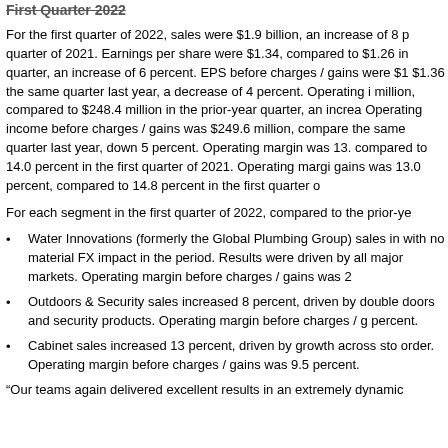First Quarter 2022
For the first quarter of 2022, sales were $1.9 billion, an increase of 8 percent compared to the first quarter of 2021. Earnings per share were $1.34, compared to $1.26 in the prior-year quarter, an increase of 6 percent. EPS before charges / gains were $1.30 compared to $1.36 the same quarter last year, a decrease of 4 percent. Operating income was $253.0 million, compared to $248.4 million in the prior-year quarter, an increase of 2 percent. Operating income before charges / gains was $249.6 million, compared to $262.8 million the same quarter last year, down 5 percent. Operating margin was 13.3 percent, compared to 14.0 percent in the first quarter of 2021. Operating margin before charges / gains was 13.0 percent, compared to 14.8 percent in the first quarter of 2021.
For each segment in the first quarter of 2022, compared to the prior-year quarter:
Water Innovations (formerly the Global Plumbing Group) sales increased 8 percent, with no material FX impact in the period. Results were driven by volume and price in all major markets. Operating margin before charges / gains was 20 percent.
Outdoors & Security sales increased 8 percent, driven by double-digit growth in doors and security products. Operating margin before charges / gains was approximately 11 percent.
Cabinet sales increased 13 percent, driven by growth across stock and build-to-order. Operating margin before charges / gains was 9.5 percent.
“Our teams again delivered excellent results in an extremely dynamic